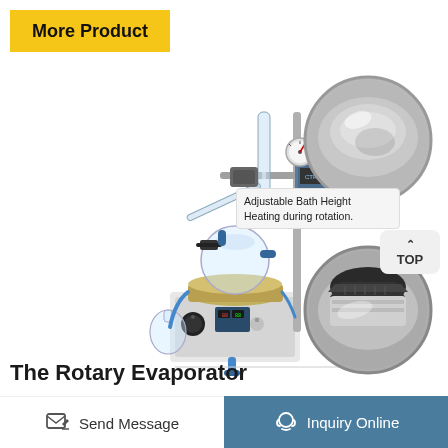More Product
[Figure (photo): Rotary evaporator laboratory equipment with glass flasks, condenser, heating bath, and vacuum gauge on white background. Two circular detail insets on the right show: (1) stainless steel heating bath interior, (2) close-up of flask connection clamp/joint.]
Adjustable Bath Height
Heating during rotation.
TOP
The Rotary Evaporator
Send Message
Inquiry Online